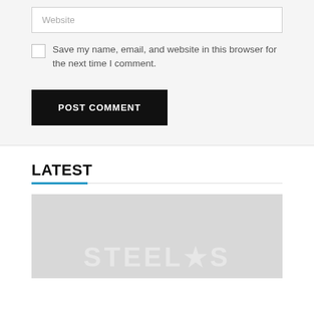Website
Save my name, email, and website in this browser for the next time I comment.
POST COMMENT
LATEST
[Figure (photo): Gray placeholder image with faded light-colored logo/text watermark at the bottom, partially visible]